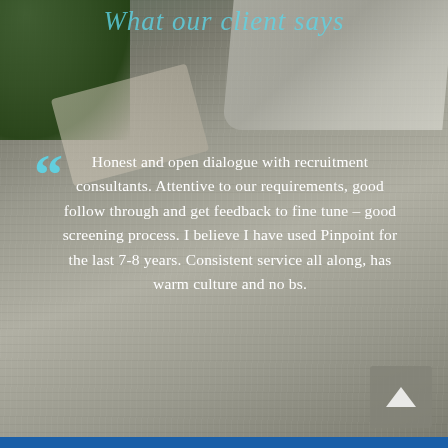What our client says
Honest and open dialogue with recruitment consultants. Attentive to our requirements, good follow through and get feedback to fine tune – good screening process. I believe I have used Pinpoint for the last 7-8 years. Consistent service all along, has warm culture and no bs.
Samson Chan - Managing Director Barclays, Equities Technology APAC